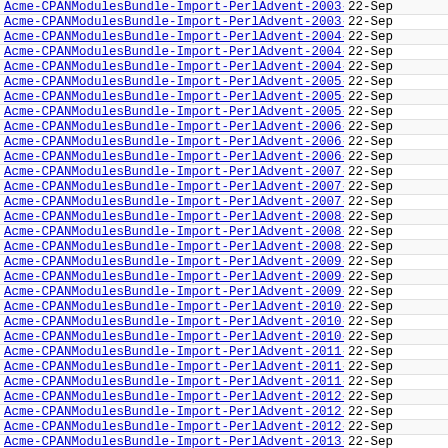Acme-CPANModulesBundle-Import-PerlAdvent-2003-0..> 22-Sep
Acme-CPANModulesBundle-Import-PerlAdvent-2003-0..> 22-Sep
Acme-CPANModulesBundle-Import-PerlAdvent-2004-0..> 22-Sep
Acme-CPANModulesBundle-Import-PerlAdvent-2004-0..> 22-Sep
Acme-CPANModulesBundle-Import-PerlAdvent-2004-0..> 22-Sep
Acme-CPANModulesBundle-Import-PerlAdvent-2005-0..> 22-Sep
Acme-CPANModulesBundle-Import-PerlAdvent-2005-0..> 22-Sep
Acme-CPANModulesBundle-Import-PerlAdvent-2005-0..> 22-Sep
Acme-CPANModulesBundle-Import-PerlAdvent-2006-0..> 22-Sep
Acme-CPANModulesBundle-Import-PerlAdvent-2006-0..> 22-Sep
Acme-CPANModulesBundle-Import-PerlAdvent-2006-0..> 22-Sep
Acme-CPANModulesBundle-Import-PerlAdvent-2007-0..> 22-Sep
Acme-CPANModulesBundle-Import-PerlAdvent-2007-0..> 22-Sep
Acme-CPANModulesBundle-Import-PerlAdvent-2007-0..> 22-Sep
Acme-CPANModulesBundle-Import-PerlAdvent-2008-0..> 22-Sep
Acme-CPANModulesBundle-Import-PerlAdvent-2008-0..> 22-Sep
Acme-CPANModulesBundle-Import-PerlAdvent-2008-0..> 22-Sep
Acme-CPANModulesBundle-Import-PerlAdvent-2009-0..> 22-Sep
Acme-CPANModulesBundle-Import-PerlAdvent-2009-0..> 22-Sep
Acme-CPANModulesBundle-Import-PerlAdvent-2009-0..> 22-Sep
Acme-CPANModulesBundle-Import-PerlAdvent-2010-0..> 22-Sep
Acme-CPANModulesBundle-Import-PerlAdvent-2010-0..> 22-Sep
Acme-CPANModulesBundle-Import-PerlAdvent-2010-0..> 22-Sep
Acme-CPANModulesBundle-Import-PerlAdvent-2011-0..> 22-Sep
Acme-CPANModulesBundle-Import-PerlAdvent-2011-0..> 22-Sep
Acme-CPANModulesBundle-Import-PerlAdvent-2011-0..> 22-Sep
Acme-CPANModulesBundle-Import-PerlAdvent-2012-0..> 22-Sep
Acme-CPANModulesBundle-Import-PerlAdvent-2012-0..> 22-Sep
Acme-CPANModulesBundle-Import-PerlAdvent-2012-0..> 22-Sep
Acme-CPANModulesBundle-Import-PerlAdvent-2013-0..> 22-Sep
Acme-CPANModulesBundle-Import-PerlAdvent-2013-0..> 22-Sep